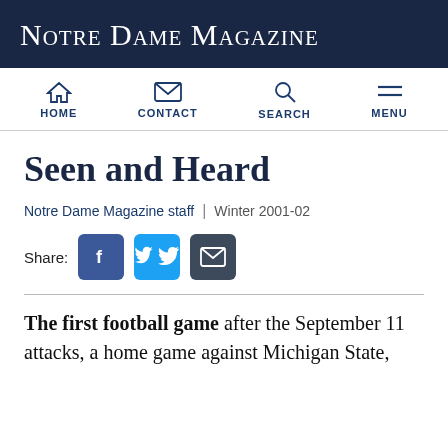Notre Dame Magazine
[Figure (screenshot): Navigation bar with HOME, CONTACT, SEARCH, MENU icons]
Seen and Heard
Notre Dame Magazine staff  |  Winter 2001-02
[Figure (infographic): Share buttons: Facebook, Twitter, Email]
The first football game after the September 11 attacks, a home game against Michigan State, featured a special ceremony by Father Mall...